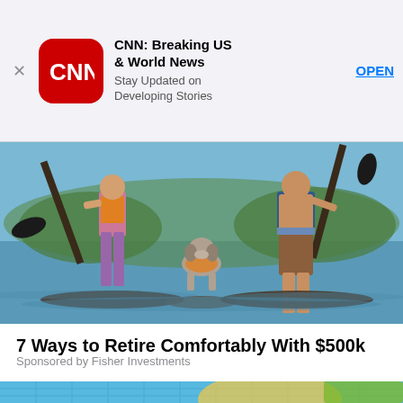[Figure (screenshot): App Store banner for CNN: Breaking US & World News app with red CNN icon, app title, subtitle 'Stay Updated on Developing Stories', close X button, and OPEN button]
[Figure (photo): Illustration of two people on paddleboards on water with a dog wearing an orange life vest between them]
7 Ways to Retire Comfortably With $500k
Sponsored by Fisher Investments
[Figure (photo): Photo of older man with white beard and sunglasses relaxing on a pineapple-shaped pool float in a swimming pool]